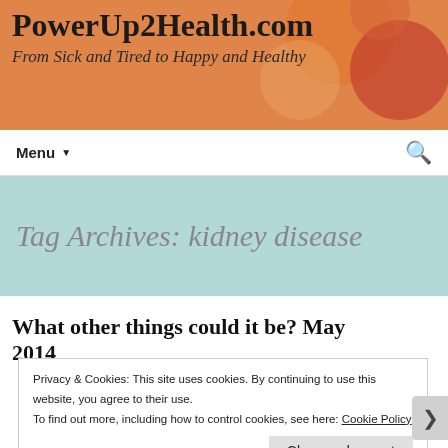PowerUp2Health.com
From Sick and Tired to Happy and Healthy
Tag Archives: kidney disease
What other things could it be? May 2014
Privacy & Cookies: This site uses cookies. By continuing to use this website, you agree to their use.
To find out more, including how to control cookies, see here: Cookie Policy
Close and accept
Advertisements